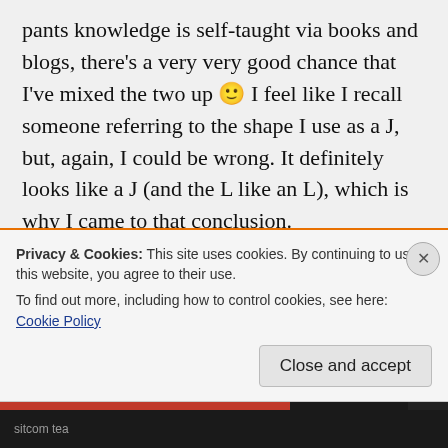pants knowledge is self-taught via books and blogs, there's a very very good chance that I've mixed the two up 🙂 I feel like I recall someone referring to the shape I use as a J, but, again, I could be wrong. It definitely looks like a J (and the L like an L), which is why I came to that conclusion.

Now that I've good and confused myself, is the shape you're referring to me needing more like the one I created, or like the one
Privacy & Cookies: This site uses cookies. By continuing to use this website, you agree to their use.
To find out more, including how to control cookies, see here: Cookie Policy
Close and accept